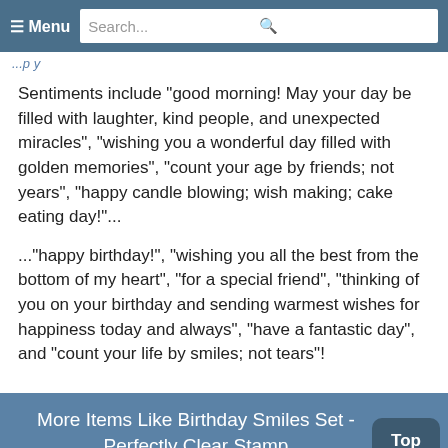≡ Menu  Search...
Sentiments include "good morning! May your day be filled with laughter, kind people, and unexpected miracles", "wishing you a wonderful day filled with golden memories", "count your age by friends; not years", "happy candle blowing; wish making; cake eating day!"...
..."happy birthday!", "wishing you all the best from the bottom of my heart", "for a special friend", "thinking of you on your birthday and sending warmest wishes for happiness today and always", "have a fantastic day", and "count your life by smiles; not tears"!
More Items Like Birthday Smiles Set - Perfectly Clear Stamp
PLANT SMILES   Harvest Love - Cling